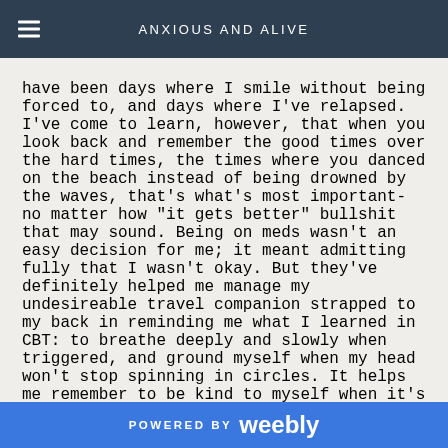ANXIOUS AND ALIVE
have been days where I smile without being forced to, and days where I've relapsed. I've come to learn, however, that when you look back and remember the good times over the hard times, the times where you danced on the beach instead of being drowned by the waves, that's what's most important- no matter how "it gets better" bullshit that may sound. Being on meds wasn't an easy decision for me; it meant admitting fully that I wasn't okay. But they've definitely helped me manage my undesireable travel companion strapped to my back in reminding me what I learned in CBT: to breathe deeply and slowly when triggered, and ground myself when my head won't stop spinning in circles. It helps me remember to be kind to myself when it's hard to get out of bed, or when it takes me longer than others to do something (I'm in year five of my undergrad, with no shame on needing the extra year). It also helps me see that I am compassionate, and care so much for others. I empathise with ease. I am fiercely loyal to the people I love because I do not
POWERED BY weebly